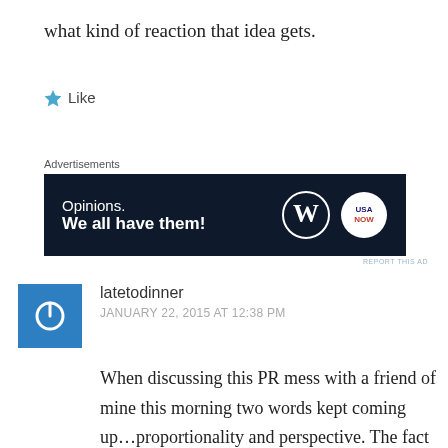what kind of reaction that idea gets.
★ Like
Advertisements
[Figure (other): Advertisement banner with dark background reading 'Opinions. We all have them!' with WordPress and USA Now logos]
REPORT THIS AD
latetodinner
JANUARY 22, 2015 AT 12:38 PM
When discussing this PR mess with a friend of mine this morning two words kept coming up...proportionality and perspective. The fact that Bill Belichick had to go in front of a microphone this